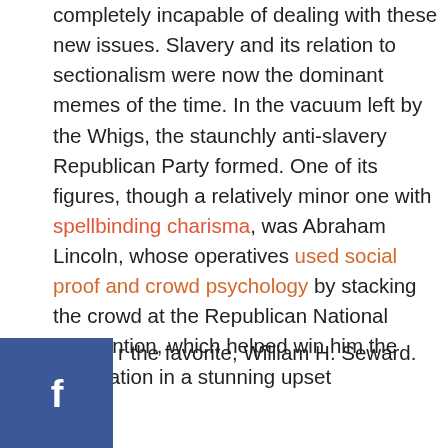completely incapable of dealing with these new issues. Slavery and its relation to sectionalism were now the dominant memes of the time. In the vacuum left by the Whigs, the staunchly anti-slavery Republican Party formed. One of its figures, though a relatively minor one with spellbinding charisma, was Abraham Lincoln, whose operatives used social proof and crowd psychology by stacking the crowd at the Republican National Convention, which helped win him the nomination in a stunning upset [over] the favorite, William H. Seward.
[Figure (infographic): Social share buttons: Facebook (blue), Twitter (light blue), Pinterest (red)]
[The] election of 1860 was a four way contest. Lincoln ran on [the] Republican line while his old Illinois rival Stephen A. [Dou]glas was running on the Democratic line. Yet, due to [sect]ional pressures, the Democratic Party had split into northern and southern factions, and John C. Breckinridge, the sitting vice president, ran for the party's southern wing. Rounding out the candidates was John Bell running for the